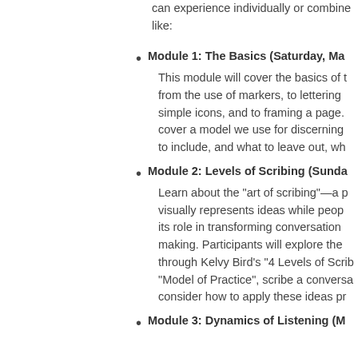can experience individually or combined like:
Module 1: The Basics (Saturday, Ma... This module will cover the basics of t... from the use of markers, to lettering... simple icons, and to framing a page. cover a model we use for discerning... to include, and what to leave out, wh...
Module 2: Levels of Scribing (Sunda... Learn about the “art of scribing”—a p... visually represents ideas while peop... its role in transforming conversation... making. Participants will explore the... through Kelvy Bird’s “4 Levels of Scrib... “Model of Practice”, scribe a convers... consider how to apply these ideas pr...
Module 3: Dynamics of Listening (M...